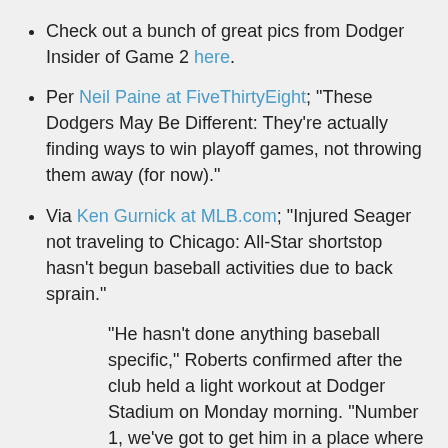Check out a bunch of great pics from Dodger Insider of Game 2 here.
Per Neil Paine at FiveThirtyEight; "These Dodgers May Be Different: They're actually finding ways to win playoff games, not throwing them away (for now)."
Via Ken Gurnick at MLB.com; "Injured Seager not traveling to Chicago: All-Star shortstop hasn't begun baseball activities due to back sprain."
"He hasn't done anything baseball specific," Roberts confirmed after the club held a light workout at Dodger Stadium on Monday morning. "Number 1, we've got to get him in a place where physically he can play in a Major League game and endure those conditions as far as weather, to come back after a night game and play the next day. Right now, I wouldn't say we're close to that point